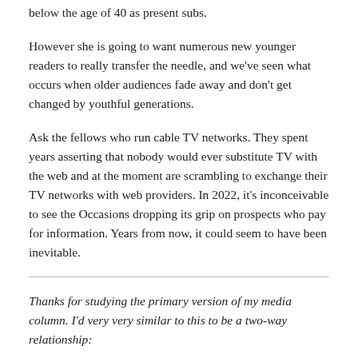below the age of 40 as present subs.
However she is going to want numerous new younger readers to really transfer the needle, and we’ve seen what occurs when older audiences fade away and don’t get changed by youthful generations.
Ask the fellows who run cable TV networks. They spent years asserting that nobody would ever substitute TV with the web and at the moment are scrambling to exchange their TV networks with web providers. In 2022, it’s inconceivable to see the Occasions dropping its grip on prospects who pay for information. Years from now, it could seem to have been inevitable.
Thanks for studying the primary version of my media column. I’d very very similar to this to be a two-way relationship: